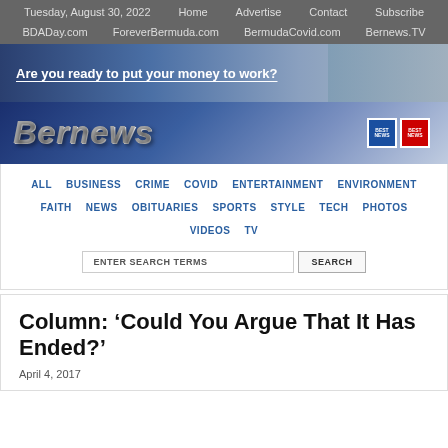Tuesday, August 30, 2022  Home  Advertise  Contact  Subscribe  BDADay.com  ForeverBermuda.com  BermudaCovid.com  Bernews.TV
[Figure (illustration): Advertisement banner with text 'Are you ready to put your money to work?' on a blue gradient background with a person on the right side]
[Figure (logo): Bernews logo on a blue gradient background with award badges on the right]
ALL  BUSINESS  CRIME  COVID  ENTERTAINMENT  ENVIRONMENT  FAITH  NEWS  OBITUARIES  SPORTS  STYLE  TECH  PHOTOS  VIDEOS  TV
ENTER SEARCH TERMS  SEARCH
Column: ‘Could You Argue That It Has Ended?’
April 4, 2017